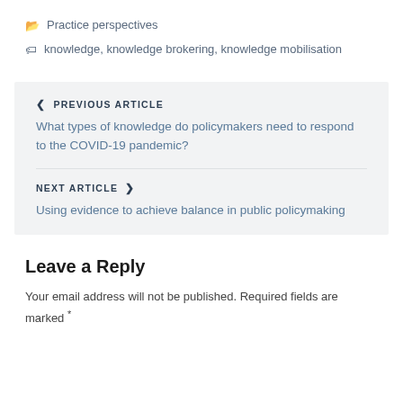📁 Practice perspectives
🏷 knowledge, knowledge brokering, knowledge mobilisation
❮ PREVIOUS ARTICLE
What types of knowledge do policymakers need to respond to the COVID-19 pandemic?
NEXT ARTICLE ❯
Using evidence to achieve balance in public policymaking
Leave a Reply
Your email address will not be published. Required fields are marked *